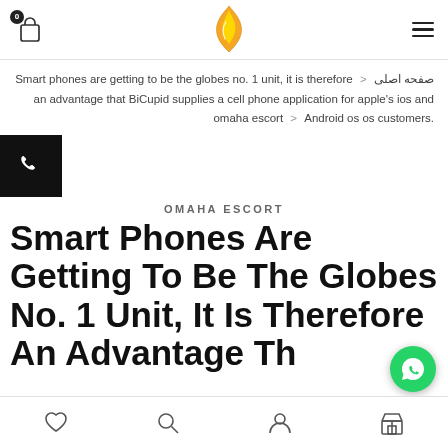Header with cart icon, flame logo, and hamburger menu
omaha escort < Smart phones are getting to be the globes no. 1 unit, it is therefore an advantage that BiCupid supplies a cell phone application for apple's ios and Android os os customers.
[Figure (other): Black square phone/call button icon]
OMAHA ESCORT
Smart Phones Are Getting To Be The Globes No. 1 Unit, It Is Therefore An Advantage Th...
[Figure (other): WhatsApp green floating action button]
Bottom navigation bar with heart, search, user, and store icons